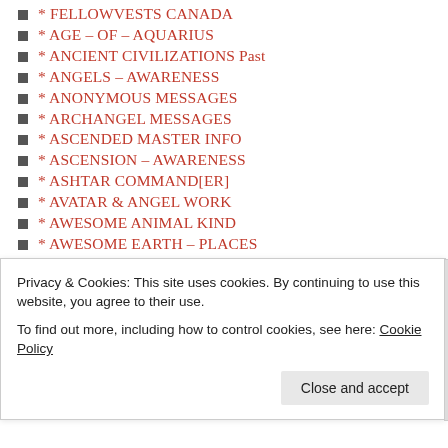* FELLOWVESTS CANADA
* AGE – OF – AQUARIUS
* ANCIENT CIVILIZATIONS Past
* ANGELS – AWARENESS
* ANONYMOUS MESSAGES
* ARCHANGEL MESSAGES
* ASCENDED MASTER INFO
* ASCENSION – AWARENESS
* ASHTAR COMMAND[ER]
* AVATAR & ANGEL WORK
* AWESOME ANIMAL KIND
* AWESOME EARTH – PLACES
* BENEVOLENT COUNCILS
* BIBLE – INFORMATION
* CABAL JUDGMENT
* Children of Chinese ELDERS
* CHILDREN of EGYPT
* Children of GREAT SPIRIT
Privacy & Cookies: This site uses cookies. By continuing to use this website, you agree to their use. To find out more, including how to control cookies, see here: Cookie Policy
Close and accept